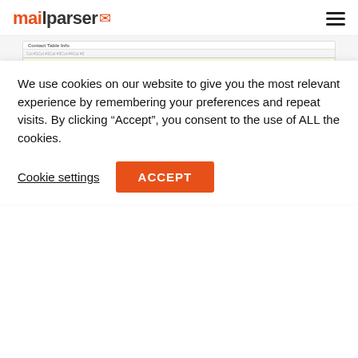mailparser [logo] [hamburger menu]
[Figure (screenshot): Screenshot of Mailparser web application showing a contact table with columns for company, URL, Name & position, Email address, and Phone. Two sections are visible: a top table with highlighted yellow rows, a gray 'Select Rows' bar with dropdowns, and a 'Result per Row' section below showing similar yellow-highlighted rows.]
We use cookies on our website to give you the most relevant experience by remembering your preferences and repeat visits. By clicking “Accept”, you consent to the use of ALL the cookies.
Cookie settings   ACCEPT